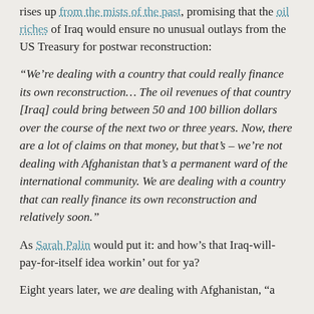rises up from the mists of the past, promising that the oil riches of Iraq would ensure no unusual outlays from the US Treasury for postwar reconstruction:
“We’re dealing with a country that could really finance its own reconstruction… The oil revenues of that country [Iraq] could bring between 50 and 100 billion dollars over the course of the next two or three years. Now, there are a lot of claims on that money, but that’s – we’re not dealing with Afghanistan that’s a permanent ward of the international community. We are dealing with a country that can really finance its own reconstruction and relatively soon.”
As Sarah Palin would put it: and how’s that Iraq-will-pay-for-itself idea workin’ out for ya?
Eight years later, we are dealing with Afghanistan, “a